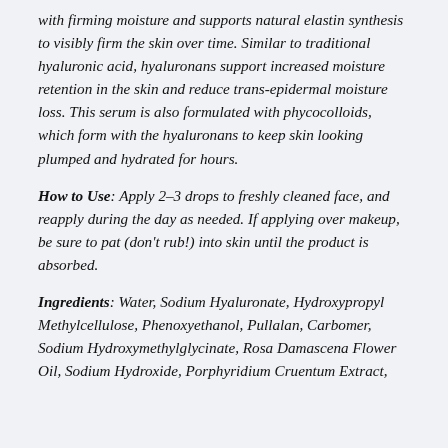with firming moisture and supports natural elastin synthesis to visibly firm the skin over time. Similar to traditional hyaluronic acid, hyaluronans support increased moisture retention in the skin and reduce trans-epidermal moisture loss. This serum is also formulated with phycocolloids, which form with the hyaluronans to keep skin looking plumped and hydrated for hours.
How to Use: Apply 2–3 drops to freshly cleaned face, and reapply during the day as needed. If applying over makeup, be sure to pat (don't rub!) into skin until the product is absorbed.
Ingredients: Water, Sodium Hyaluronate, Hydroxypropyl Methylcellulose, Phenoxyethanol, Pullalan, Carbomer, Sodium Hydroxymethylglycinate, Rosa Damascena Flower Oil, Sodium Hydroxide, Porphyridium Cruentum Extract,